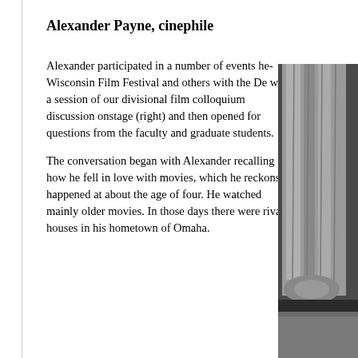Alexander Payne, cinephile
Alexander participated in a number of events here including some with the Wisconsin Film Festival and others with the Department. Among these was a session of our divisional film colloquium, which led to a discussion onstage (right) and then opened for questions from the faculty and graduate students.
The conversation began with Alexander recalling how he fell in love with movies, which he reckons happened at about the age of four. He watched mainly older movies. In those days there were rival houses in his hometown of Omaha.
[Figure (photo): Photo of stage curtain, silver/grey draped fabric, partial view from right side of page]